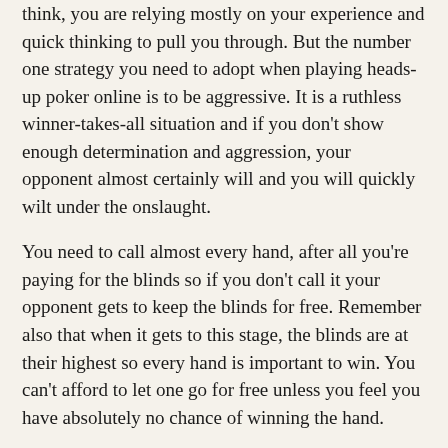think, you are relying mostly on your experience and quick thinking to pull you through. But the number one strategy you need to adopt when playing heads-up poker online is to be aggressive. It is a ruthless winner-takes-all situation and if you don't show enough determination and aggression, your opponent almost certainly will and you will quickly wilt under the onslaught.
You need to call almost every hand, after all you're paying for the blinds so if you don't call it your opponent gets to keep the blinds for free. Remember also that when it gets to this stage, the blinds are at their highest so every hand is important to win. You can't afford to let one go for free unless you feel you have absolutely no chance of winning the hand.
Of course a Holdem hand that you would probably fold in a ten player situation is often one that you can go all-in with at heads-up poker. Any Ace at all is certainly worth raising and re-raising, the chances are your opponent is adopting a similar strategy to you and he may be going in with a King or Queen along with a lower card.
Say for example you are dealt King-Eight. Now at a ten player poker tournament you would most probably fold this hand in early position, but call or possibly even raise in late position. In a heads-